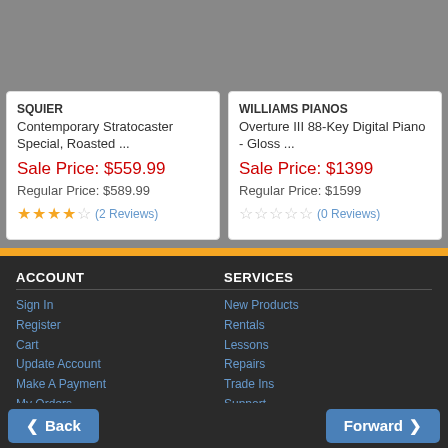SQUIER
Contemporary Stratocaster Special, Roasted ...
Sale Price: $559.99
Regular Price: $589.99
★★★★☆ (2 Reviews)
WILLIAMS PIANOS
Overture III 88-Key Digital Piano - Gloss ...
Sale Price: $1399
Regular Price: $1599
☆☆☆☆☆ (0 Reviews)
ACCOUNT
Sign In
Register
Cart
Update Account
Make A Payment
My Orders
Gift Card Balance
SERVICES
New Products
Rentals
Lessons
Repairs
Trade Ins
Support
Financing
Back | Forward